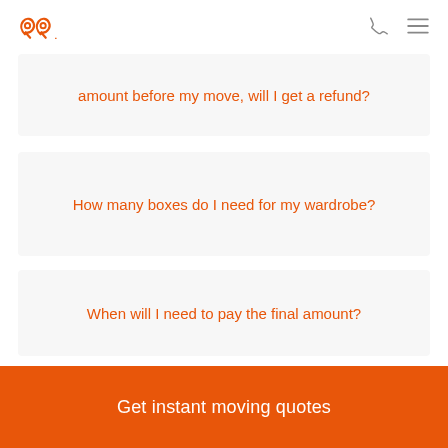logo | phone icon | menu icon
amount before my move, will I get a refund?
How many boxes do I need for my wardrobe?
When will I need to pay the final amount?
Get instant moving quotes